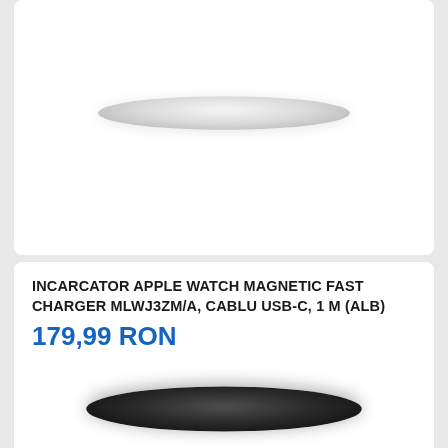[Figure (photo): Top portion of a white circular Apple Watch charger on white background (partially visible, cropped at top)]
INCARCATOR APPLE WATCH MAGNETIC FAST CHARGER MLWJ3ZM/A, CABLU USB-C, 1 M (ALB)
179,99 RON
Incarcator Apple Watch Magnetic Fast Charger mlwj3zm/a, cablu USB-C, 1 m (Alb)
apple, incarcatoare smartwatch
evomag.ro
Similar cu Incarcator Apple Watch Magnetic Fast Charger mlwj3zm/a, cablu USB-C, 1 m (Alb)
[Figure (photo): Bottom portion of a dark/black product (Apple Watch band or charger) on white background, partially visible at bottom of page]